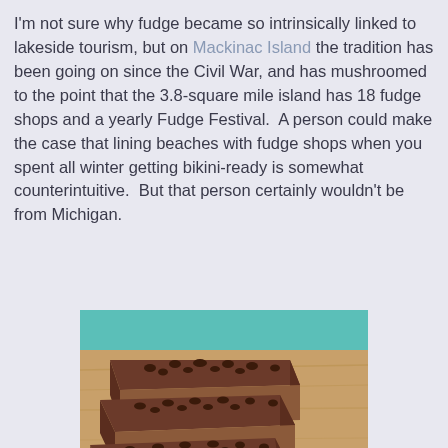I'm not sure why fudge became so intrinsically linked to lakeside tourism, but on Mackinac Island the tradition has been going on since the Civil War, and has mushroomed to the point that the 3.8-square mile island has 18 fudge shops and a yearly Fudge Festival.  A person could make the case that lining beaches with fudge shops when you spent all winter getting bikini-ready is somewhat counterintuitive.  But that person certainly wouldn't be from Michigan.
[Figure (photo): Slices of chocolate fudge with chocolate chips on top, arranged on a wooden cutting board with a teal background visible.]